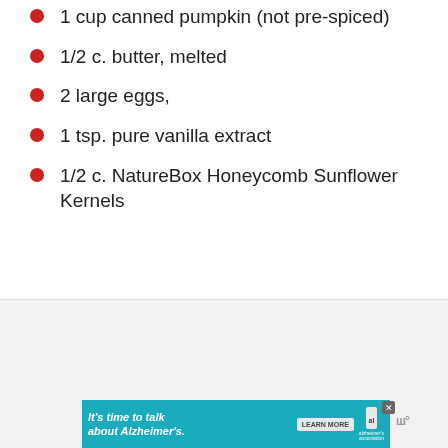1 cup canned pumpkin (not pre-spiced)
1/2 c. butter, melted
2 large eggs,
1 tsp. pure vanilla extract
1/2 c. NatureBox Honeycomb Sunflower Kernels
[Figure (other): Alzheimer's Association advertisement banner. Teal background with text 'It's time to talk about Alzheimer's.' and a 'LEARN MORE' button, Alzheimer's Association logo, and a close button.]